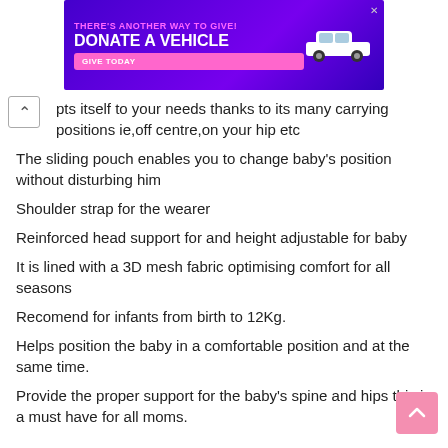[Figure (other): Purple advertisement banner: THERE'S ANOTHER WAY TO GIVE! DONATE A VEHICLE with GIVE TODAY button and car graphic]
pts itself to your needs thanks to its many carrying positions ie,off centre,on your hip etc
The sliding pouch enables you to change baby's position without disturbing him
Shoulder strap for the wearer
Reinforced head support for and height adjustable for baby
It is lined with a 3D mesh fabric optimising comfort for all seasons
Recomend for infants from birth to 12Kg.
Helps position the baby in a comfortable position and at the same time.
Provide the proper support for the baby's spine and hips this is a must have for all moms.
WHAT'S IN THE BOX
One Baby carrier